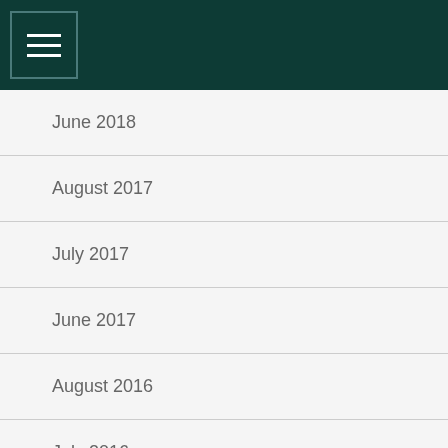Navigation menu header bar
June 2018
August 2017
July 2017
June 2017
August 2016
July 2016
June 2016
August 2015